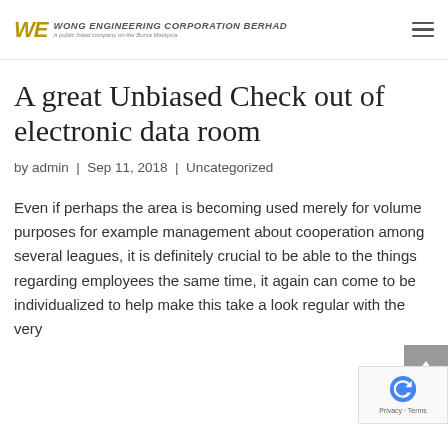WE WONG ENGINEERING CORPORATION BERHAD A public listed company on the Bursa Malaysia.
A great Unbiased Check out of electronic data room
by admin | Sep 11, 2018 | Uncategorized
Even if perhaps the area is becoming used merely for volume purposes for example management about cooperation among several leagues, it is definitely crucial to be able to the things regarding employees the same time, it again can come to be individualized to help make this take a look regular with the very